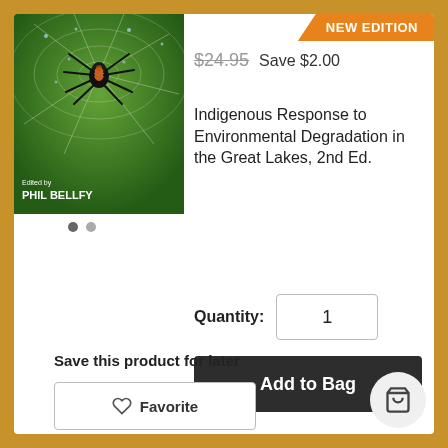[Figure (illustration): Book cover for Indigenous Response to Environmental Degradation in the Great Lakes, 2nd Ed., edited by Phil Bellfy. Cover shows a spider on a web with green/nature background.]
NEW EDITION
$24.95  Save $2.00
Indigenous Response to Environmental Degradation in the Great Lakes, 2nd Ed.
Quantity:  1
Add to Bag
Save this product for later
Favorite